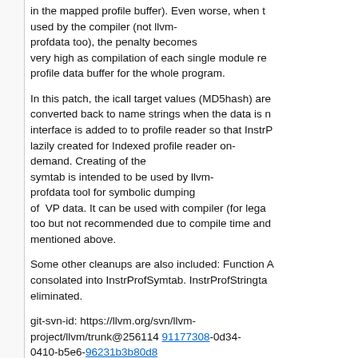in the mapped profile buffer). Even worse, when used by the compiler (not llvm-profdata too), the penalty becomes very high as compilation of each single module re... profile data buffer for the whole program.

In this patch, the icall target values (MD5hash) are converted back to name strings when the data is n... interface is added to to profile reader so that InstrP... lazily created for Indexed profile reader on-demand. Creating of the symtab is intended to be used by llvm-profdata tool for symbolic dumping of VP data. It can be used with compiler (for lega... too but not recommended due to compile time and... mentioned above.

Some other cleanups are also included: Function A... consolated into InstrProfSymtab. InstrProfStringta... eliminated.

git-svn-id: https://llvm.org/svn/llvm-project/llvm/trunk@256114 91177308-0d34-0410-b5e6-96231b3b80d8
6 years ago   Minor clean up -- move large single use method out of header(NFC)
commit | commitdiff | tree   Xinliang David Li [Sun, 20 Dec 2015 05:15:45 +0000 (05:15 +0000)]